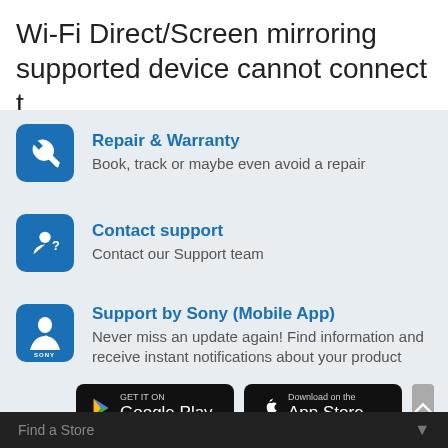Wi-Fi Direct/Screen mirroring supported device cannot connect t...
Repair & Warranty
Book, track or maybe even avoid a repair
Contact support
Contact our Support team
Support by Sony (Mobile App)
Never miss an update again! Find information and receive instant notifications about your product
[Figure (screenshot): Google Play and App Store download buttons]
Find a Store